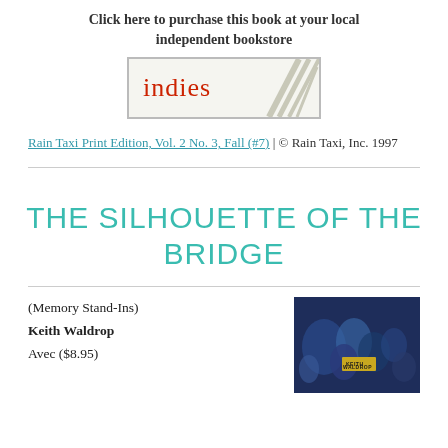Click here to purchase this book at your local independent bookstore
[Figure (logo): Indies bookstore logo - red text 'indies' on light background with decorative lines, inside a bordered rectangle]
Rain Taxi Print Edition, Vol. 2 No. 3, Fall (#7) | © Rain Taxi, Inc. 1997
THE SILHOUETTE OF THE BRIDGE
(Memory Stand-Ins)
Keith Waldrop
Avec ($8.95)
[Figure (photo): Book cover of Keith Waldrop's book, dark blue tones with abstract shapes and text 'KEITH WALDROP']